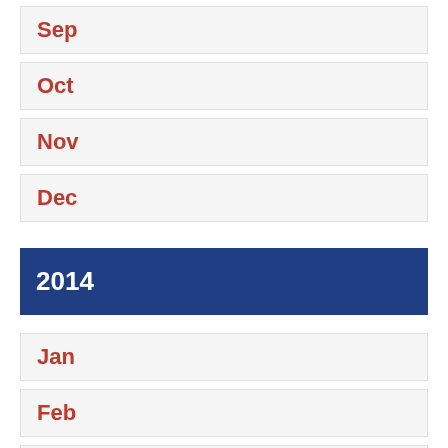Sep
Oct
Nov
Dec
2014
Jan
Feb
Mar